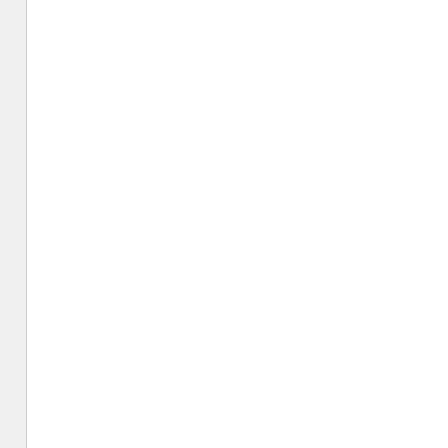6:24 AM    Ris...
<span-size:10...  PM    Set 2:...
<span-size:10...
<span-size:10...
<span-size:10...
<span-size:10...  6:25 AM    Ris...
<span-size:10...  PM    Set 3:...
<span-size:10...
<span-size:10...
<span-size:10...
<span-size:10...  6:25 AM    Ris...
<span-size:10...  PM    Set 4:...
<span-size:10...
<span-size:10...
<span-size:10...